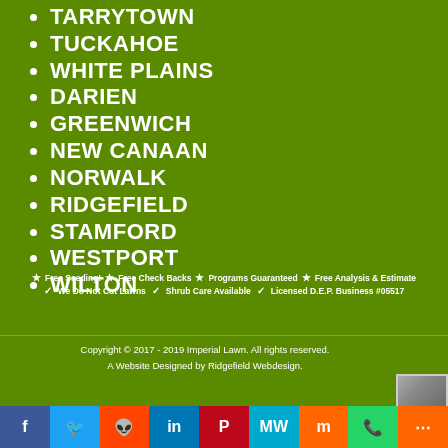TARRYTOWN
TUCKAHOE
WHITE PLAINS
DARIEN
GREENWICH
NEW CANAAN
NORWALK
RIDGEFIELD
STAMFORD
WESTPORT
WILTON
★ Free Seeding! ★ Free Check Backs ★ Programs Guaranteed ★ Free Analysis & Estimate ✓ We Do Not Cut Lawns ✓ Shrub Care Available ✓ Licensed D.E.P. Business #05517
Copyright © 2017 - 2019 Imperial Lawn. All rights reserved. A Website Designed by Ridgefield Webdesign.